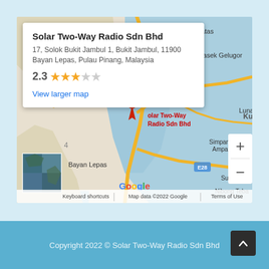[Figure (map): Google Maps embed showing Solar Two-Way Radio Sdn Bhd location in Bukit Jambul, Bayan Lepas, Pulau Pinang, Malaysia. Map shows roads, waterways, and surrounding areas including Kepala Batas, Tasek Gelugor, Simpang Ampat, Sungai, Nibong Tebal. Route markers E17, E15, E28 visible. Red location pin marks the business.]
Solar Two-Way Radio Sdn Bhd
17, Solok Bukit Jambul 1, Bukit Jambul, 11900 Bayan Lepas, Pulau Pinang, Malaysia
2.3 ★★★☆☆
View larger map
Copyright 2022 © Solar Two-Way Radio Sdn Bhd